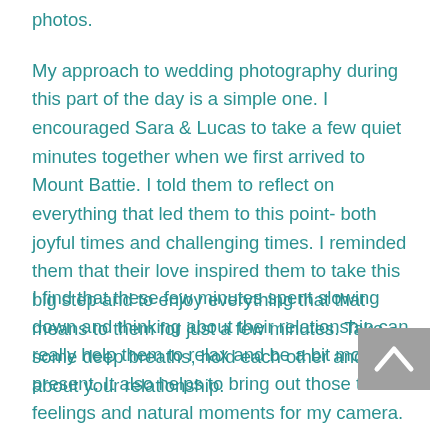photos.
My approach to wedding photography during this part of the day is a simple one. I encouraged Sara & Lucas to take a few quiet minutes together when we first arrived to Mount Battie. I told them to reflect on everything that led them to this point- both joyful times and challenging times. I reminded them that their love inspired them to take this big step and to enjoy everything that that means to them for just a few minutes. Take some deep breaths, hold each other and think about your relationship.
I find that these few minutes spent slowing down and thinking about their relationship can really help them to relax and be a bit more present. It also helps to bring out those tender feelings and natural moments for my camera.